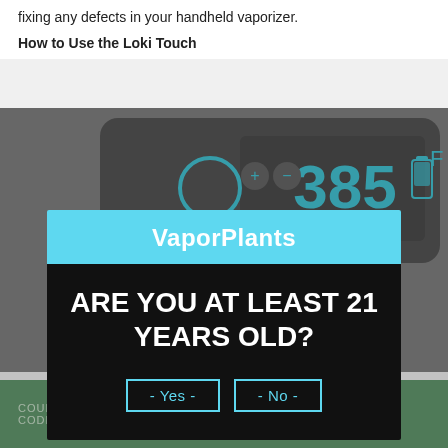fixing any defects in your handheld vaporizer.
How to Use the Loki Touch
[Figure (photo): Close-up photo of a handheld vaporizer device showing a digital display reading 385°F with control buttons, on a dark background. A second view shows the device from a different angle.]
[Figure (infographic): Modal dialog overlay on the page. Header says VaporPlants in bold on a cyan/teal background. Body on black background reads ARE YOU AT LEAST 21 YEARS OLD? with two buttons labeled - Yes - and - No -]
Grind your herb down finely to expose the most surface area possible to the heating element.
Pop off the silicone base that covers the chamber.
Insert your dry herb tightly, but not too tightly.
COUPON CODE: 10off  10% OFF OFFER Today